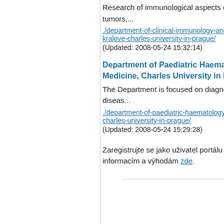Research of immunological aspects of blood ma tumors,...
./department-of-clinical-immunology-and-allerg kralove-charles-university-in-prague/
(Updated: 2008-05-24 15:32:14)
Department of Paediatric Haematology and O Medicine, Charles University in Prague
The Department is focused on diagnosis, thera diseas...
./department-of-paediatric-haematology-and-on charles-university-in-prague/
(Updated: 2008-05-24 15:29:28)
Zaregistrujte se jako uživatel portálu Gate2Biote informacím a výhodám zde.
---